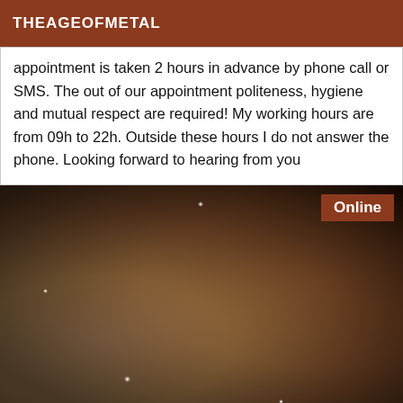THEAGEOFMETAL
appointment is taken 2 hours in advance by phone call or SMS. The out of our appointment politeness, hygiene and mutual respect are required! My working hours are from 09h to 22h. Outside these hours I do not answer the phone. Looking forward to hearing from you
[Figure (photo): A photo of a person lying on a bed, partially clothed, with an 'Online' badge in the top right corner.]